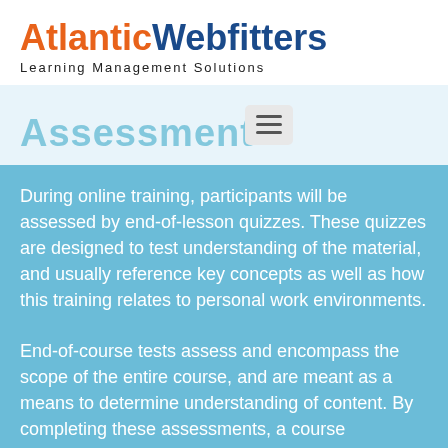[Figure (logo): Atlantic Webfitters logo with orange 'Atlantic' and dark blue 'Webfitters' text, tagline 'Learning Management Solutions']
Assessment
During online training, participants will be assessed by end-of-lesson quizzes. These quizzes are designed to test understanding of the material, and usually reference key concepts as well as how this training relates to personal work environments.
End-of-course tests assess and encompass the scope of the entire course, and are meant as a means to determine understanding of content. By completing these assessments, a course certification will be awarded to the account...